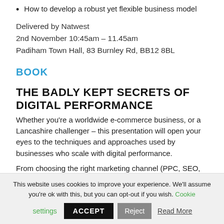How to develop a robust yet flexible business model
Delivered by Natwest
2nd November 10:45am – 11.45am
Padiham Town Hall, 83 Burnley Rd, BB12 8BL
BOOK
THE BADLY KEPT SECRETS OF DIGITAL PERFORMANCE
Whether you're a worldwide e-commerce business, or a Lancashire challenger – this presentation will open your eyes to the techniques and approaches used by businesses who scale with digital performance.
From choosing the right marketing channel (PPC, SEO,
This website uses cookies to improve your experience. We'll assume you're ok with this, but you can opt-out if you wish. Cookie settings ACCEPT Reject Read More